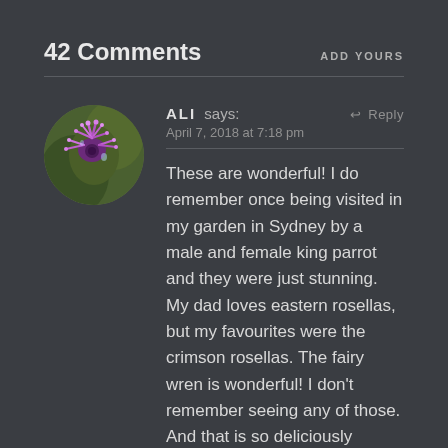42 Comments
ADD YOURS
[Figure (photo): Circular avatar photo of purple spiky flowers (likely Centaurea or similar) against a green background]
ALI says:
Reply
April 7, 2018 at 7:18 pm
These are wonderful! I do remember once being visited in my garden in Sydney by a male and female king parrot and they were just stunning. My dad loves eastern rosellas, but my favourites were the crimson rosellas. The fairy wren is wonderful! I don't remember seeing any of those. And that is so deliciously grizzly about the